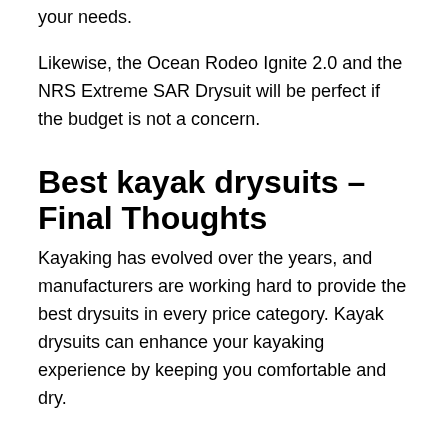your needs.
Likewise, the Ocean Rodeo Ignite 2.0 and the NRS Extreme SAR Drysuit will be perfect if the budget is not a concern.
Best kayak drysuits – Final Thoughts
Kayaking has evolved over the years, and manufacturers are working hard to provide the best drysuits in every price category. Kayak drysuits can enhance your kayaking experience by keeping you comfortable and dry.